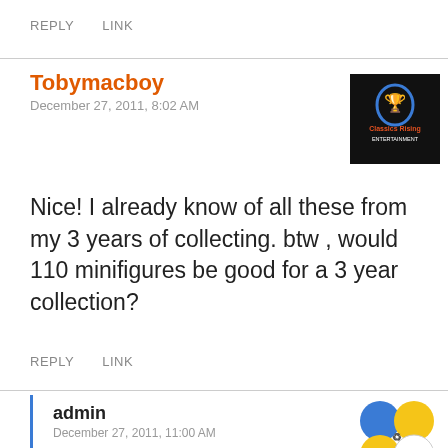REPLY   LINK
Tobymacboy
December 27, 2011, 8:02 AM
[Figure (photo): Avatar image: black background with 'Classics Rising Entertainment' logo in blue/red text]
Nice! I already know of all these from my 3 years of collecting. btw , would 110 minifigures be good for a 3 year collection?
REPLY   LINK
admin
December 27, 2011, 11:00 AM
[Figure (illustration): Avatar: four colored circles arranged in 2x2 grid - blue (top-left), yellow (top-right), yellow (bottom-left), white (bottom-right) with a small figure/text overlay]
Tobymacboy, nice collection! What is a "good collection" is judged by you only. 🙂